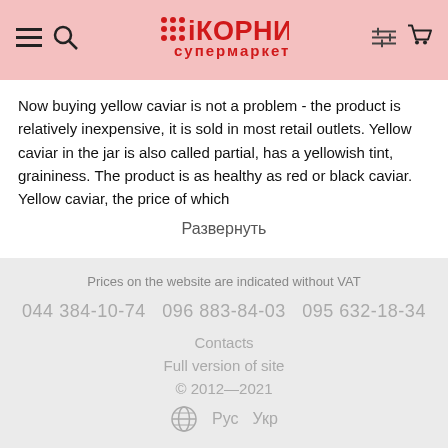іКОРНИЙ супермаркет
Now buying yellow caviar is not a problem - the product is relatively inexpensive, it is sold in most retail outlets. Yellow caviar in the jar is also called partial, has a yellowish tint, graininess. The product is as healthy as red or black caviar. Yellow caviar, the price of which
Развернуть
Prices on the website are indicated without VAT
044 384-10-74   096 883-84-03   095 632-18-34
Contacts
Full version of site
© 2012—2021
Рус  Укр